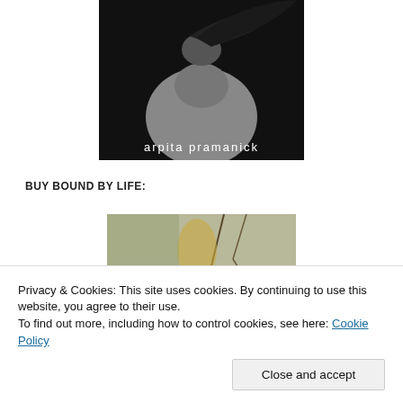[Figure (photo): Black and white book cover showing a woman in a knitted sweater with flowing dark hair, looking upward. Text reads 'arpita pramanick' in white handwritten-style font at the bottom.]
BUY BOUND BY LIFE:
[Figure (photo): Partial view of a second book cover image with muted green/beige tones showing branches.]
Privacy & Cookies: This site uses cookies. By continuing to use this website, you agree to their use.
To find out more, including how to control cookies, see here: Cookie Policy
Close and accept